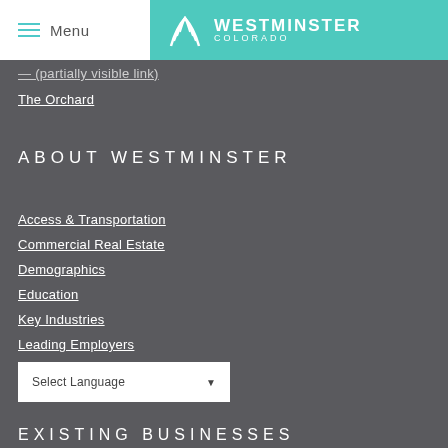Menu | Westminster Colorado
The Orchard
ABOUT WESTMINSTER
Access & Transportation
Commercial Real Estate
Demographics
Education
Key Industries
Leading Employers
Living Here
Water, Utilities & Taxes
Select Language
EXISTING BUSINESSES